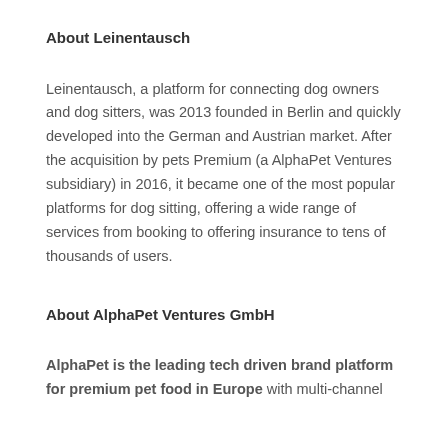About Leinentausch
Leinentausch, a platform for connecting dog owners and dog sitters, was 2013 founded in Berlin and quickly developed into the German and Austrian market. After the acquisition by pets Premium (a AlphaPet Ventures subsidiary) in 2016, it became one of the most popular platforms for dog sitting, offering a wide range of services from booking to offering insurance to tens of thousands of users.
About AlphaPet Ventures GmbH
AlphaPet is the leading tech driven brand platform for premium pet food in Europe with multi-channel